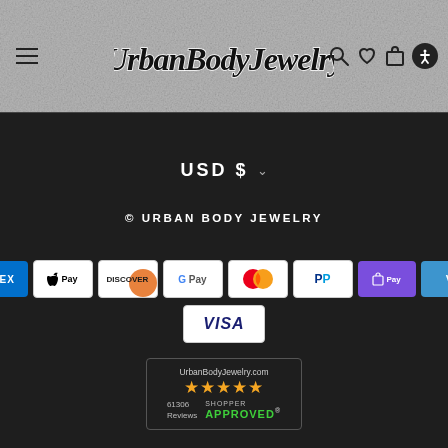Urban Body Jewelry — navigation header with hamburger menu, search, wishlist, cart, and accessibility icons
USD $
© URBAN BODY JEWELRY
[Figure (logo): Payment method badges: American Express, Apple Pay, Discover, Google Pay, Mastercard, PayPal, Shop Pay, Venmo, Visa]
[Figure (logo): Shopper Approved badge: UrbanBodyJewelry.com, 5 stars, 61306 Reviews, SHOPPER APPROVED]